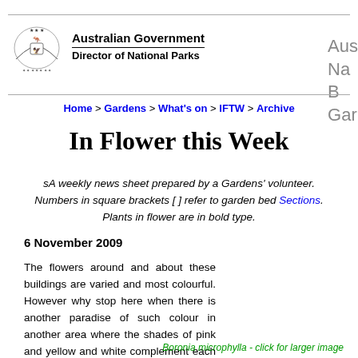Australian Government Director of National Parks
Home > Gardens > What's on > IFTW > Archive
In Flower this Week
sA weekly news sheet prepared by a Gardens' volunteer. Numbers in square brackets [ ] refer to garden bed Sections. Plants in flower are in bold type.
6 November 2009
The flowers around and about these buildings are varied and most colourful. However why stop here when there is another paradise of such colour in another area where the shades of pink and yellow and white complement each other … so, come and enjoy this other wonderland.
Boronia microphylla - click for larger image